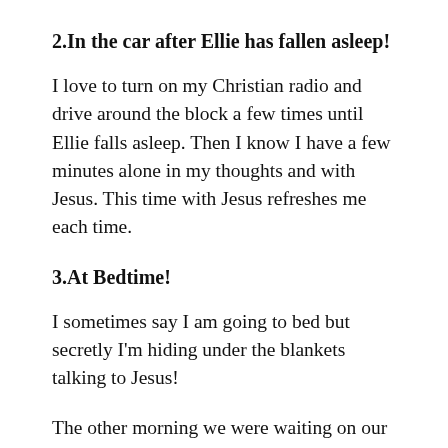2.In the car after Ellie has fallen asleep!
I love to turn on my Christian radio and drive around the block a few times until Ellie falls asleep. Then I know I have a few minutes alone in my thoughts and with Jesus. This time with Jesus refreshes me each time.
3.At Bedtime!
I sometimes say I am going to bed but secretly I'm hiding under the blankets talking to Jesus!
The other morning we were waiting on our friends to show up. I never do this but I decided to get to praying in my car. Most of the time I